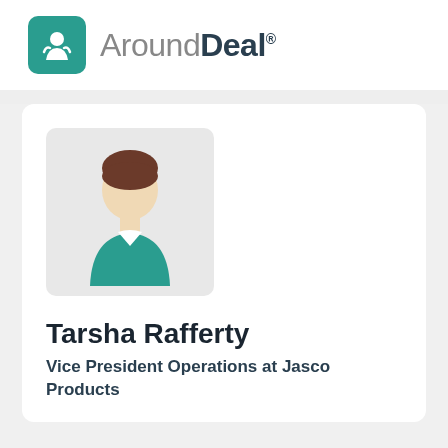[Figure (logo): AroundDeal logo with teal rocket icon and wordmark]
[Figure (illustration): Generic person avatar illustration with teal shirt and brown hair on light grey rounded square background]
Tarsha Rafferty
Vice President Operations at Jasco Products